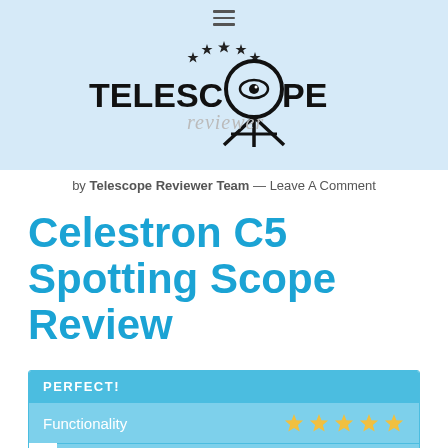[Figure (logo): Telescope Reviewer logo with eye inside telescope circle, tripod, and stars]
by Telescope Reviewer Team — Leave A Comment
Celestron C5 Spotting Scope Review
PERFECT!
Functionality ★★★★★